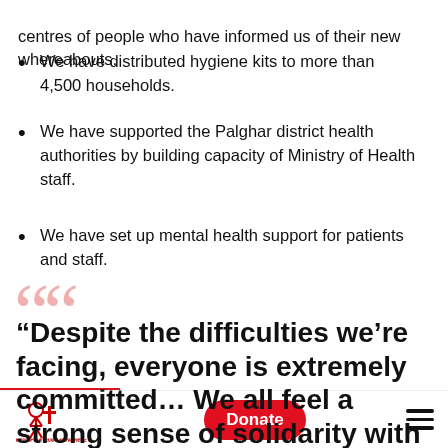centres of people who have informed us of their new whereabouts.
We have distributed hygiene kits to more than 4,500 households.
We have supported the Palghar district health authorities by building capacity of Ministry of Health staff.
We have set up mental health support for patients and staff.
“Despite the difficulties we’re facing, everyone is extremely committed… We all feel a strong sense of solidarity with our patients
[Figure (logo): MSF Médecins Sans Frontières / Doctors Without Borders logo]
Donate